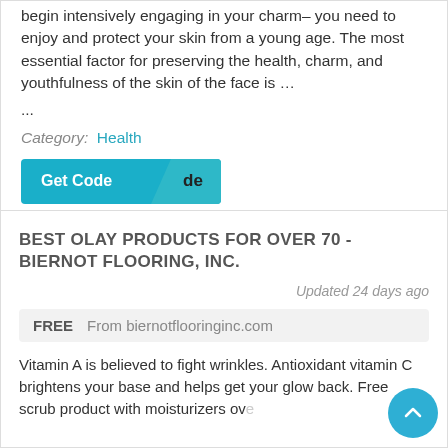begin intensively engaging in your charm– you need to enjoy and protect your skin from a young age. The most essential factor for preserving the health, charm, and youthfulness of the skin of the face is …
...
Category: Health
[Figure (other): Teal 'Get Code' button with a partially revealed code overlay]
BEST OLAY PRODUCTS FOR OVER 70 - BIERNOT FLOORING, INC.
Updated 24 days ago
FREE   From biernotflooringinc.com
Vitamin A is believed to fight wrinkles. Antioxidant vitamin C brightens your base and helps get your glow back. Free scrub product with moisturizers ove $00... Ch...